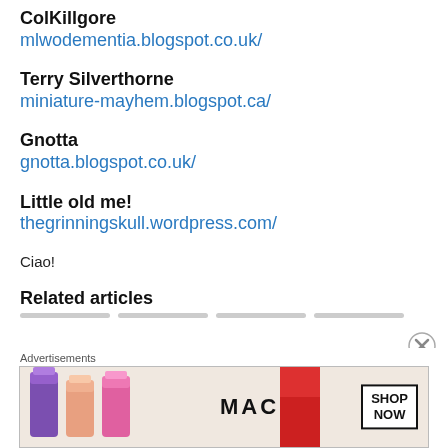ColKillgore
mlwodementia.blogspot.co.uk/
Terry Silverthorne
miniature-mayhem.blogspot.ca/
Gnotta
gnotta.blogspot.co.uk/
Little old me!
thegrinningskull.wordpress.com/
Ciao!
Related articles
[Figure (other): Advertisement banner showing MAC cosmetics lipsticks with SHOP NOW button]